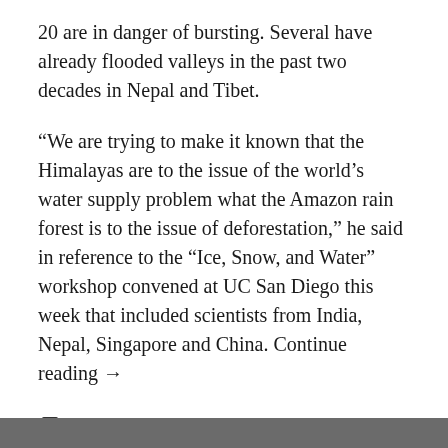20 are in danger of bursting. Several have already flooded valleys in the past two decades in Nepal and Tibet.
“We are trying to make it known that the Himalayas are to the issue of the world’s water supply problem what the Amazon rain forest is to the issue of deforestation,” he said in reference to the “Ice, Snow, and Water” workshop convened at UC San Diego this week that included scientists from India, Nepal, Singapore and China. Continue reading →
Leave a comment